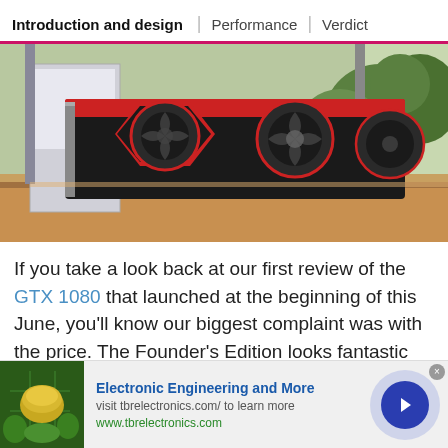Introduction and design | Performance | Verdict
[Figure (photo): MSI GTX 1080 gaming graphics card with red and black dual-fan cooler, placed on a wooden windowsill with green trees visible through the window in the background.]
If you take a look back at our first review of the GTX 1080 that launched at the beginning of this June, you'll know our biggest complaint was with the price. The Founder's Edition looks fantastic and really does
[Figure (other): Advertisement banner: Electronic Engineering and More. Visit tbrelectronics.com/ to learn more. www.tbrelectronics.com. Thumbnail image of a circuit board with green dome structure. Blue arrow button on right.]